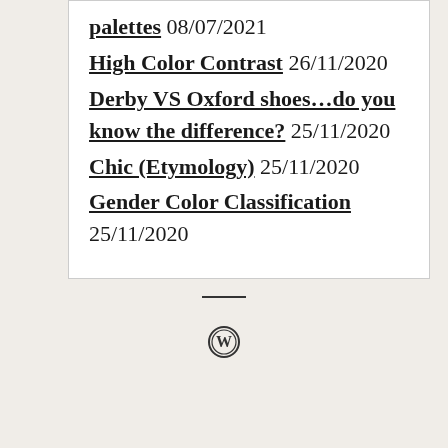palettes 08/07/2021
High Color Contrast 26/11/2020
Derby VS Oxford shoes…do you know the difference? 25/11/2020
Chic (Etymology) 25/11/2020
Gender Color Classification 25/11/2020
[Figure (logo): WordPress logo icon]